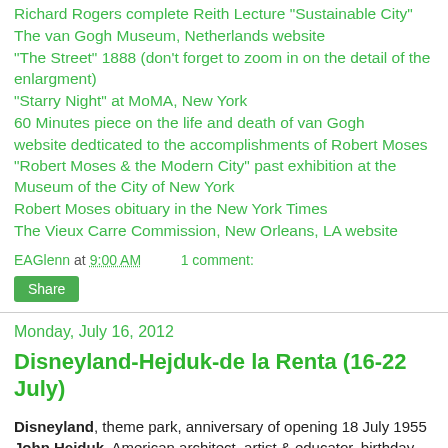Richard Rogers complete Reith Lecture "Sustainable City"
The van Gogh Museum, Netherlands website
"The Street" 1888 (don't forget to zoom in on the detail of the enlargment)
"Starry Night" at MoMA, New York
60 Minutes piece on the life and death of van Gogh
website deditated to the accomplishments of Robert Moses
"Robert Moses & the Modern City" past exhibition at the Museum of the City of New York
Robert Moses obituary in the New York Times
The Vieux Carre Commission, New Orleans, LA website
EAGlenn at 9:00 AM    1 comment:
Share
Monday, July 16, 2012
Disneyland-Hejduk-de la Renta (16-22 July)
Disneyland, theme park, anniversary of opening 18 July 1955 John Hejduk, American architect, artist & educator, birthday 19